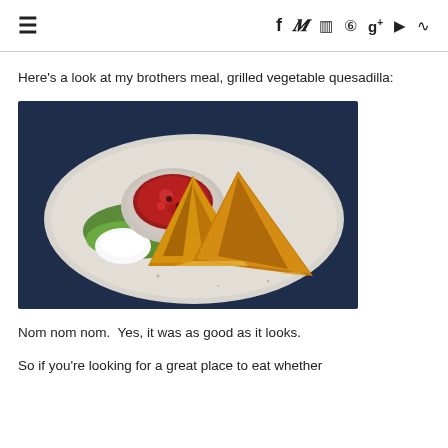≡  f  𝕥  📷  𝗽  g+  ▶  ⊃
Here's a look at my brothers meal, grilled vegetable quesadilla:
[Figure (photo): A grilled vegetable quesadilla cut into wedges on a white plate, served with a small bowl of red salsa/sauce, lettuce, and a dollop of sour cream.]
Nom nom nom.  Yes, it was as good as it looks.
So if you're looking for a great place to eat whether